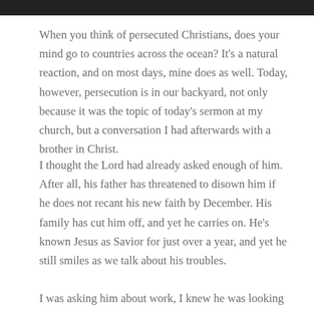When you think of persecuted Christians, does your mind go to countries across the ocean? It’s a natural reaction, and on most days, mine does as well. Today, however, persecution is in our backyard, not only because it was the topic of today’s sermon at my church, but a conversation I had afterwards with a brother in Christ.
I thought the Lord had already asked enough of him. After all, his father has threatened to disown him if he does not recant his new faith by December. His family has cut him off, and yet he carries on. He’s known Jesus as Savior for just over a year, and yet he still smiles as we talk about his troubles.
I was asking him about work, I knew he was looking